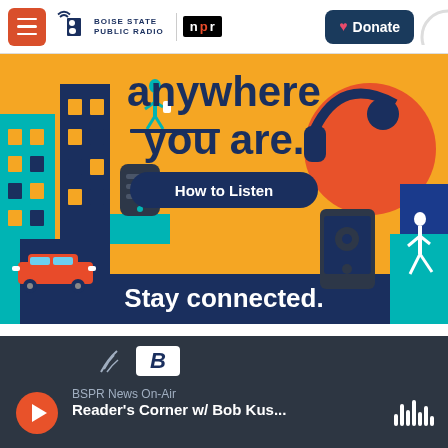Boise State Public Radio | NPR — Donate
[Figure (illustration): Boise State Public Radio promotional banner with orange background showing illustrated city scene with buildings, car, person walking, smart speaker, headphones, phone, and runner. Text reads 'anywhere you are.' with 'How to Listen' button and 'Stay connected.' tagline.]
[Figure (screenshot): Radio player bar with dark background, BSPR logo (radio wave icon and B logo), orange play button, text 'BSPR News On-Air', show title 'Reader's Corner w/ Bob Kus...' and audio wave icon on right.]